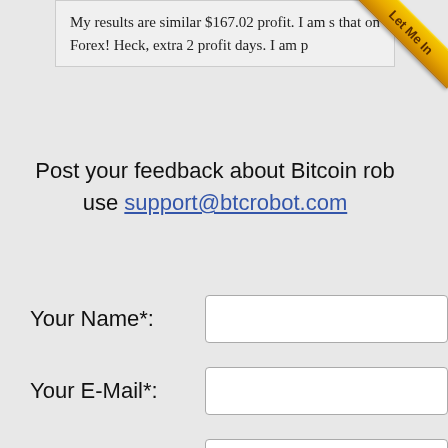My results are similar $167.02 profit. I am s... that on Forex! Heck, extra 2 profit days. I am p...
[Figure (illustration): Gold ribbon banner in upper right corner with text 'Let Me In']
Post your feedback about Bitcoin rob... use support@btcrobot.com
Your Name*:
Your E-Mail*:
Message*: